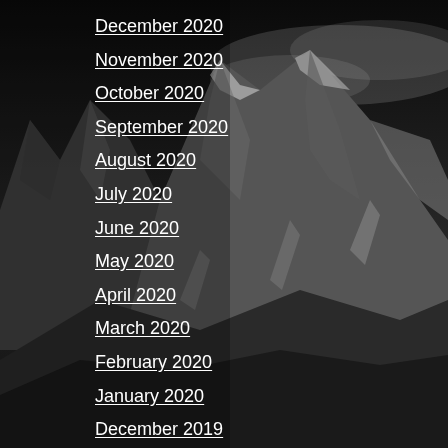[Figure (photo): Black and white photograph of mountain peaks with dramatic rocky ridgelines, snow patches, and clouds at the top, serving as a full-page background image.]
December 2020
November 2020
October 2020
September 2020
August 2020
July 2020
June 2020
May 2020
April 2020
March 2020
February 2020
January 2020
December 2019